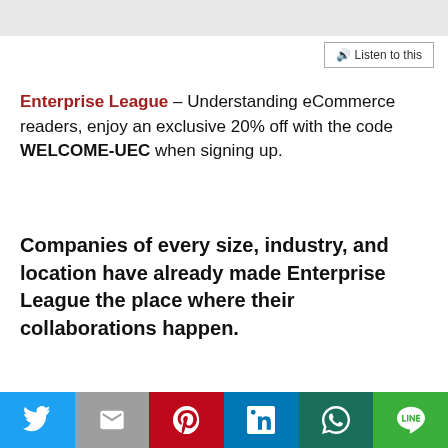🔊 Listen to this
Enterprise League – Understanding eCommerce readers, enjoy an exclusive 20% off with the code WELCOME-UEC when signing up.
Companies of every size, industry, and location have already made Enterprise League the place where their collaborations happen.
This website uses cookies. Accept